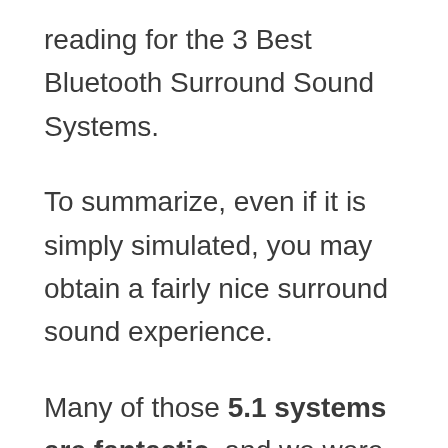reading for the 3 Best Bluetooth Surround Sound Systems.
To summarize, even if it is simply simulated, you may obtain a fairly nice surround sound experience.
Many of those 5.1 systems are fantastic, and we were blown away by the level of detail and surround sound impact they could generate. All of the 3.1 wireless systems we tested and included